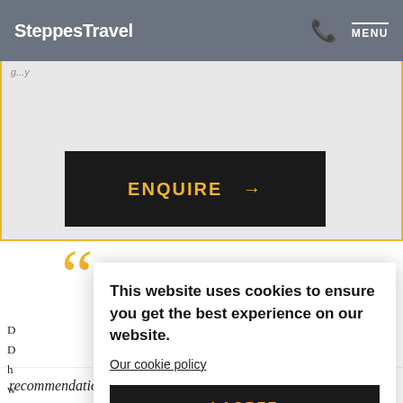SteppesTravel | MENU
[Figure (screenshot): ENQUIRE button with right arrow on dark background inside a light grey bordered box]
[Figure (other): Large yellow opening quotation marks decorative element]
This website uses cookies to ensure you get the best experience on our website.
Our cookie policy
I AGREE
recommendation - our journey was a once